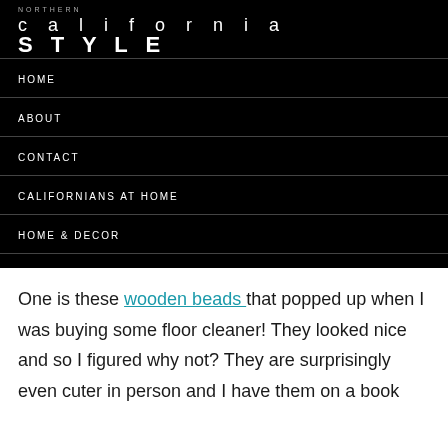NORTHERN california STYLE
HOME
ABOUT
CONTACT
CALIFORNIANS AT HOME
HOME & DECOR
MY CALIFORNIA CLOSET
One is these wooden beads that popped up when I was buying some floor cleaner! They looked nice and so I figured why not? They are surprisingly even cuter in person and I have them on a book